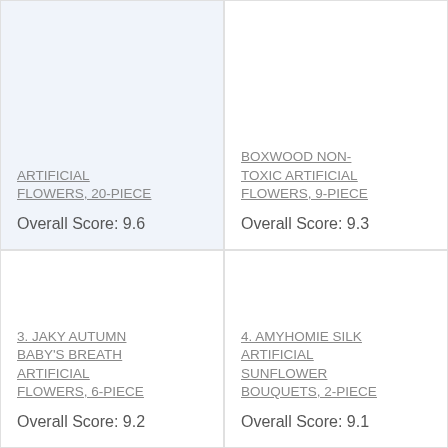ARTIFICIAL FLOWERS, 20-PIECE
Overall Score: 9.6
BOXWOOD NON-TOXIC ARTIFICIAL FLOWERS, 9-PIECE
Overall Score: 9.3
3. JAKY AUTUMN BABY'S BREATH ARTIFICIAL FLOWERS, 6-PIECE
Overall Score: 9.2
4. AMYHOMIE SILK ARTIFICIAL SUNFLOWER BOUQUETS, 2-PIECE
Overall Score: 9.1